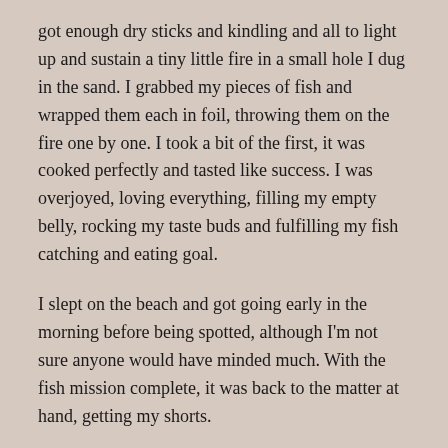got enough dry sticks and kindling and all to light up and sustain a tiny little fire in a small hole I dug in the sand. I grabbed my pieces of fish and wrapped them each in foil, throwing them on the fire one by one. I took a bit of the first, it was cooked perfectly and tasted like success. I was overjoyed, loving everything, filling my empty belly, rocking my taste buds and fulfilling my fish catching and eating goal.
I slept on the beach and got going early in the morning before being spotted, although I'm not sure anyone would have minded much. With the fish mission complete, it was back to the matter at hand, getting my shorts.
I walked down the main drag of town and caught a ride from a couple girls going to Hamilton to see someone at the hospital. I went past Waihi and to Paeroa where I could use the internet and catch up on a few things, then